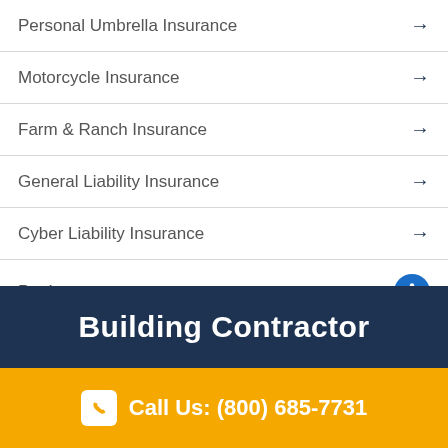Personal Umbrella Insurance
Motorcycle Insurance
Farm & Ranch Insurance
General Liability Insurance
Cyber Liability Insurance
Pet Insurance
Building Contractor
Call Us: (800) 685-7731